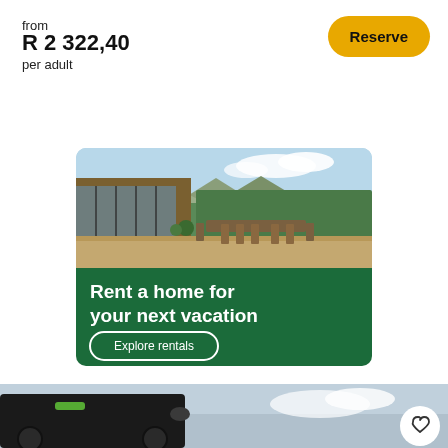from
R 2 322,40
per adult
Reserve
[Figure (photo): Vacation rental advertisement banner showing a modern home with outdoor dining area on a wooden deck surrounded by greenery, with text 'Rent a home for your next vacation' and 'Explore rentals' button on a dark green background]
[Figure (photo): Bottom portion of page showing a dark motorcycle on the left and a cloudy sky background, with a white heart/favorite button on the right]